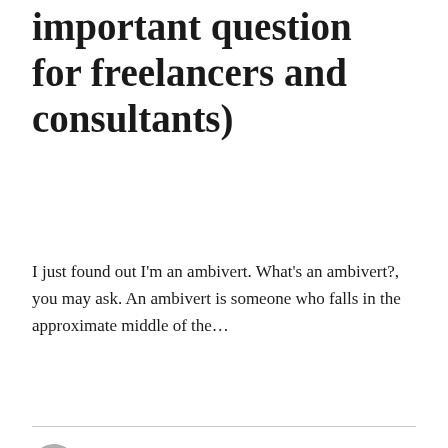important question for freelancers and consultants)
I just found out I'm an ambivert. What's an ambivert?, you may ask. An ambivert is someone who falls in the approximate middle of the...
Diana Schneidman ♛
Jul 7, 2020 · 2 min
The time value of money—an important...